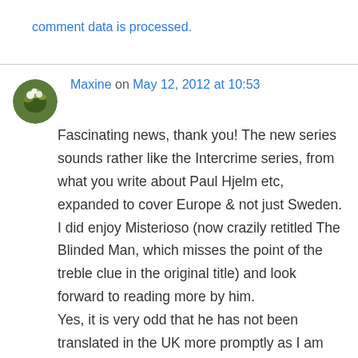comment data is processed.
Maxine on May 12, 2012 at 10:53
Fascinating news, thank you! The new series sounds rather like the Intercrime series, from what you write about Paul Hjelm etc, expanded to cover Europe & not just Sweden. I did enjoy Misterioso (now crazily retitled The Blinded Man, which misses the point of the treble clue in the original title) and look forward to reading more by him.
Yes, it is very odd that he has not been translated in the UK more promptly as I am sure he'd be popular with (predominantly male?) readers of Le Carre/spy thriller style books as